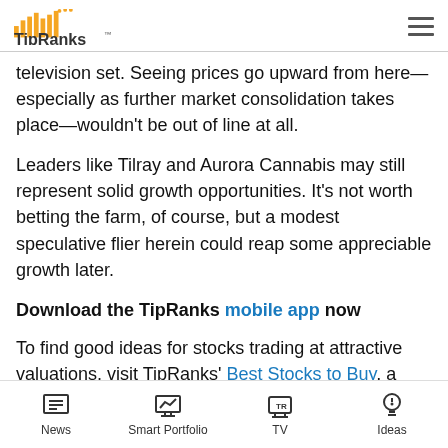TipRanks
television set. Seeing prices go upward from here—especially as further market consolidation takes place—wouldn't be out of line at all.
Leaders like Tilray and Aurora Cannabis may still represent solid growth opportunities. It's not worth betting the farm, of course, but a modest speculative flier herein could reap some appreciable growth later.
Download the TipRanks mobile app now
To find good ideas for stocks trading at attractive valuations, visit TipRanks' Best Stocks to Buy, a newly
News | Smart Portfolio | TV | Ideas